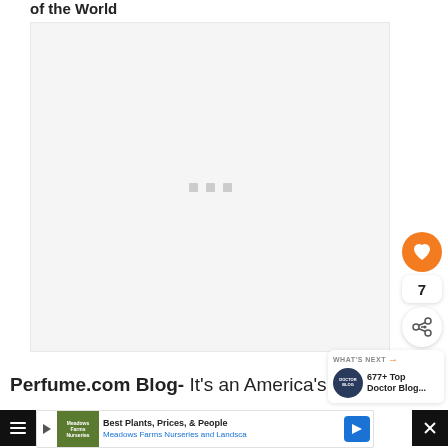of the World
[Figure (other): Large image placeholder with loading dots (gray rectangle with three small gray squares centered)]
7
WHAT'S NEXT → 677+ Top Doctor Blog...
Perfume.com Blog- It's an America's
Best Plants, Prices, & People Meadows Farms Nurseries and Landsca